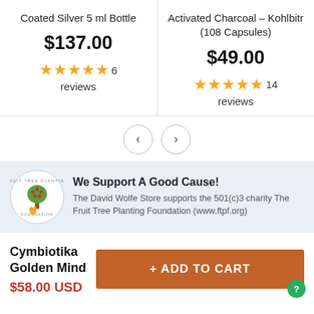Coated Silver 5 ml Bottle
$137.00
6 reviews
Activated Charcoal – Kohlbitr (108 Capsules)
$49.00
14 reviews
[Figure (screenshot): Navigation previous/next carousel buttons]
[Figure (logo): Fruit Tree Planting Foundation circular logo with tree and heart]
We Support A Good Cause!
The David Wolfe Store supports the 501(c)3 charity The Fruit Tree Planting Foundation (www.ftpf.org)
Cymbiotika Golden Mind
$58.00 USD
+ ADD TO CART